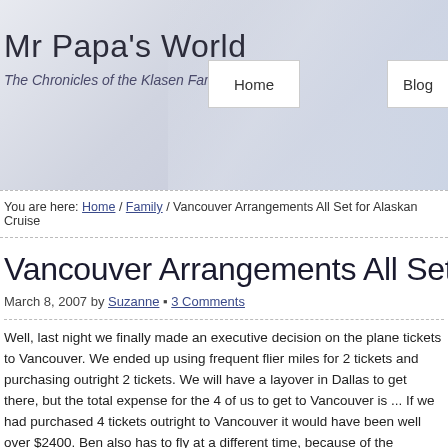Mr Papa's World
The Chronicles of the Klasen Family...
Vancouver Arrangements All Set for Alaskan Cruise
March 8, 2007 by Suzanne • 3 Comments
Well, last night we finally made an executive decision on the plane tickets to Vancouver. We ended up using frequent flier miles for 2 tickets and purchasing outright 2 tickets. We will have a layover in Dallas to get there, but the total expense for the 4 of us to get to Vancouver is ... If we had purchased 4 tickets outright to Vancouver it would have been well over $2400. Ben also has to fly at a different time, because of the mileage tickets, but Suzanne and the kids will get to spend some time pre-cruise with her family.
We also took care of the hotel arrangements, pre and post cruise. It seems there was a regatta the night before the cruise and a regatta that weekend, so we were not able to ... more than $350. The rooms that we...